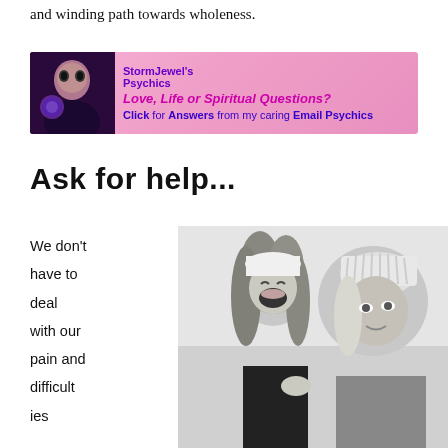and winding path towards wholeness.
[Figure (photo): Advertisement banner for StormJewel's Psychics with pink/purple gradient background. Text reads: StormJewel's Psychics – Love, Life or Spiritual Questions? Click for Answers from my caring Email Psychics]
Ask for help...
We don't have to deal with our pain and difficulties
[Figure (photo): Black and white photo of two young women wearing winter hats, laughing and smiling together]